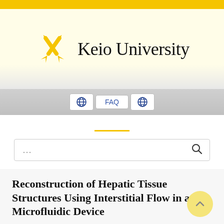[Figure (logo): Keio University logo: two crossed gold quills with the text 'Keio University']
[Figure (screenshot): Navigation bar with globe icons and FAQ link]
Reconstruction of Hepatic Tissue Structures Using Interstitial Flow in a Microfluidic Device
Ryo Sudo